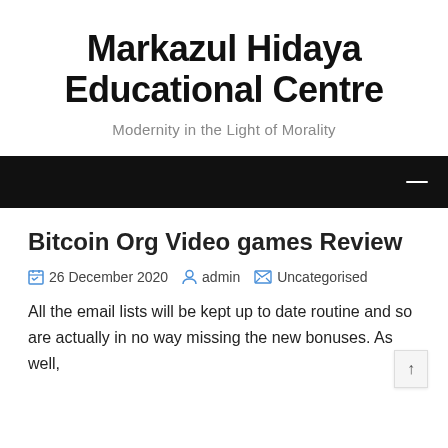Markazul Hidaya Educational Centre
Modernity in the Light of Morality
Bitcoin Org Video games Review
26 December 2020  admin  Uncategorised
All the email lists will be kept up to date routine and so are actually in no way missing the new bonuses. As well,